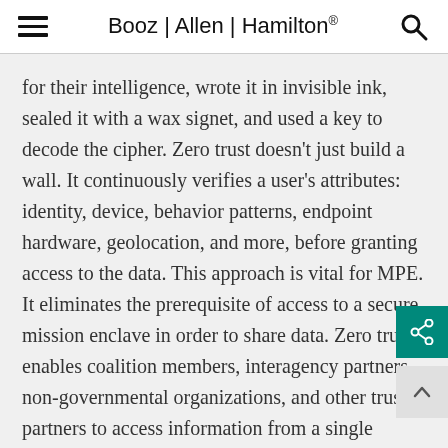Booz | Allen | Hamilton®
for their intelligence, wrote it in invisible ink, sealed it with a wax signet, and used a key to decode the cipher. Zero trust doesn't just build a wall. It continuously verifies a user's attributes: identity, device, behavior patterns, endpoint hardware, geolocation, and more, before granting access to the data. This approach is vital for MPE. It eliminates the prerequisite of access to a secure mission enclave in order to share data. Zero trust enables coalition members, interagency partners, non-governmental organizations, and other trusted partners to access information from a single interface, such as a laptop or mobile phone, making